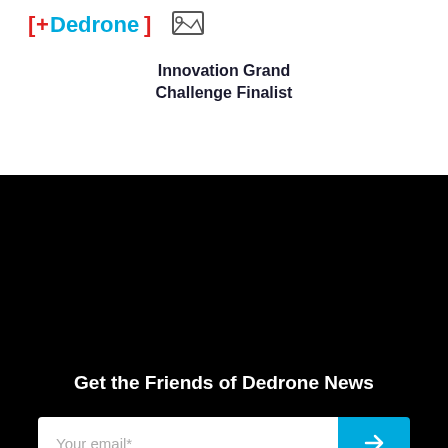[Figure (logo): Dedrone logo with red brackets and blue text, person icon top right]
Innovation Grand Challenge Finalist
Get the Friends of Dedrone News
Your email*
I agree to the Privacy Policy*
[Figure (illustration): Social media icons: LinkedIn (in), Twitter bird, Vimeo (V)]
[Figure (other): Blue button partially visible at bottom]